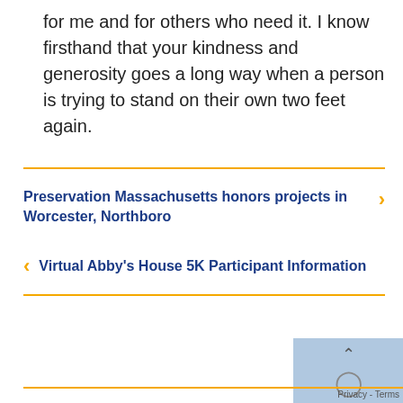for me and for others who need it. I know firsthand that your kindness and generosity goes a long way when a person is trying to stand on their own two feet again.
Preservation Massachusetts honors projects in Worcester, Northboro
Virtual Abby's House 5K Participant Information
Privacy - Terms